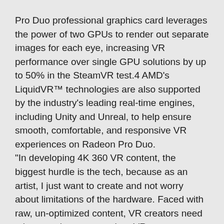Pro Duo professional graphics card leverages the power of two GPUs to render out separate images for each eye, increasing VR performance over single GPU solutions by up to 50% in the SteamVR test.4 AMD's LiquidVR™ technologies are also supported by the industry's leading real-time engines, including Unity and Unreal, to help ensure smooth, comfortable, and responsive VR experiences on Radeon Pro Duo. “In developing 4K 360 VR content, the biggest hurdle is the tech, because as an artist, I just want to create and not worry about limitations of the hardware. Faced with raw, un-optimized content, VR creators need a lot more horsepower than VR consumers. With the new Radeon Pro Duo, I have performance in spades. I immediately saw a speed difference of up to 2X, allowing me to push the boundaries of my projects without having to compromise on creativity or productivity,” said Jonathan Winbush,